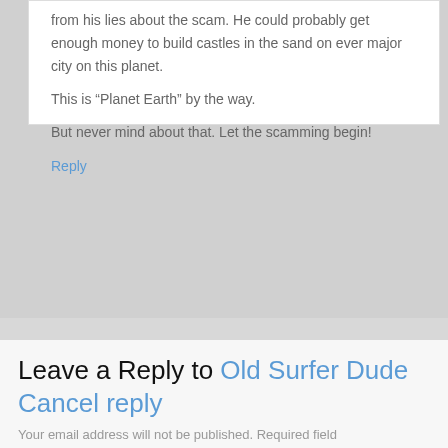from his lies about the scam. He could probably get enough money to build castles in the sand on ever major city on this planet.
This is “Planet Earth” by the way.
But never mind about that. Let the scamming begin!
Reply
Leave a Reply to Old Surfer Dude Cancel reply
Your email address will not be published. Required fields